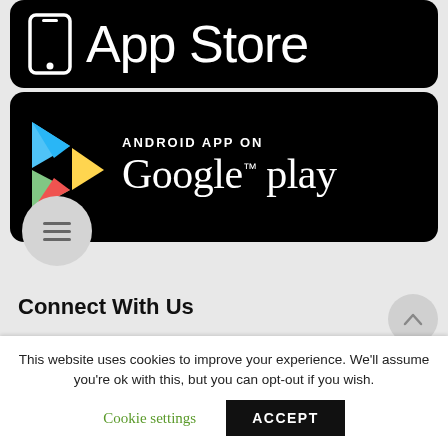[Figure (logo): App Store download badge with phone icon and 'App Store' text on black background]
[Figure (logo): Google Play download badge with colored play triangle icon, 'ANDROID APP ON' and 'Google play' text on black background]
Connect With Us
[Figure (logo): Facebook circular icon (blue with white 'f')]
This website uses cookies to improve your experience. We'll assume you're ok with this, but you can opt-out if you wish.
Cookie settings
ACCEPT